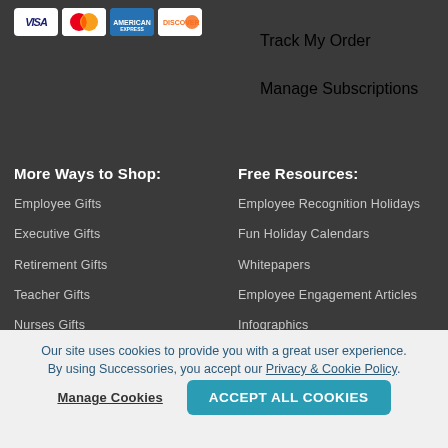[Figure (logo): Payment card icons: Visa, MasterCard, American Express, Discover]
Track My Order
Manage Subscriptions
More Ways to Shop:
Free Resources:
Employee Gifts
Employee Recognition Holidays
Executive Gifts
Fun Holiday Calendars
Retirement Gifts
Whitepapers
Teacher Gifts
Employee Engagement Articles
Nurses Gifts
Infographics
Our site uses cookies to provide you with a great user experience. By using Successories, you accept our Privacy & Cookie Policy.
Manage Cookies
ACCEPT ALL COOKIES